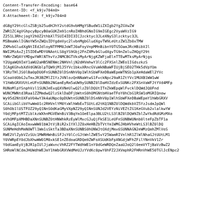Content-Transfer-Encoding: base64
Content-ID: <f_k9jv704n0>
X-Attachment-Id: f_k9jv704n0

dG8gY29tcGlsZSBjb25udHJhY2stdG9vbHMgYSBudW1iZXIgb2YgZGVwZW
ZWR1ZC4gVGhpcyBpcyB0aGUKZm91cnRoIHBhdGNoIG9mIGEgc2VyaWVzIG9
Z251L3RhcjogY2h0Z2thbXlTSUI4IDI3ICJzcktyc3JLeXNyS3lzcktyc3JL
MSBmaWxlIGNoYW5nZWQsIDYgdmVyc2lvbnMgbGludXgvTW9ReUtzZW1Zb0xTMW
ZXMvbGludXgNtIEdJdloyNTFMM0JoWTJ0aFoyVnpMMnBibnY0TG5OamJRcHBibVJl
NWI2MzAxZjI5IDEwMDY0NAotLS0gYS9Gbj2FnZXMvbGludXgvTG9nZmluZHQgY29t
YWNrZWQAYtMDgwYWRlNThvYzJNMCBGTVksMyArNjgKZWFjaElnTTEwMTksMyArNjgs
Y2UgaWQ9ImY1aWU2aHB5NENWc2NHVnljN2dHVmhwY3lCc2FXSnlZWEo1IGdszkzS
ICAgKGhvbXdVdGNGblpTQW9jM1J5YVc1bkxXRncGVuWkNBaWFIUjBjSE02THk5dVpYUm
Y3RzTHlJS0lBa0pDU0FnSUNBZ0lDSnNhV0p1WlhSbWFXeDBaWEpmWTNSb1pXeHdaWEl2YVc
SUNoaVdObGJuTmxJR3BZMlZ1YzJVNlozQnNNaWtwS1FvckNpc29aR1ZtYVc1MUxYQjFZbXhwW
Y1hWbGRXVUtLeUFnSUNBb2NGamEyRm5aUW9ySUNBZ0lDaHVZdzExSUNKc2FXSnVaWFJtYVd4MFp
SUNoMlpYSnphVzl1SUNJeExqQXVNeUlwQ2lzZ0lDQUtITnZkWEpqWlFvcklDQWdJQ0Fnd
WUNCMWNtd3Raa1ZZMmdwQ2lzSklDaDFjbWtnS0hOMGNtbHVaeTFoY0hCbG1RSW1oMGRIQnow
Wnk5d2NtOXFaV04wY3k4aUNpcydKQ1FrZ0lDQWdJQ0pzYVdKdVpYUm1hV3gwWlhKZmNYVmxkV1
SUNBaWJHbGlibVYwWm01c2RHVnlYM0YxWlhWbExTSUtLd2tKQ1NBZ0lDQWdkbVZ5YzJsdmJpQWl
S0hOb1lUSTFOZ29yQ1NnS0dKaGMyVXpNZ29yQ1NnSUNJd2VEYzNiVEZtZG1KeGVub2xlalkwYW
Y0djMFptMTZiblkzWXhnMGVEWnBiV3BqYm1OeElpa3BLU2tLS3lBZ0lDQW9ZblZwYkdRdGMzMXo
eVhOMFpXMHBDaXNnSUNBZ0tHNWhkRzEyWlMxcGJuQjFkSE1LeUFnSUNBWUNnb0lteFpZbTF1a
SUNBZ0lDQW9JbXhwWW01bWJtVjBiR2x1YXlJZ0xHeHBZbTVtYm1WMGJHbHVheWtLS3lBZ0lDQ
SUNMeHdhMmN0WTl1Wm1sSktTa3BDaXNnSUNBS0hONWJtOXdjMmx6SUNNAGN2eWMzQmhZMlVoS
hWGE2VlZybVZzSUc1MWRHWnBiSFJsY0lCcGJtWnlZWE5vY25WamRIVnlhR1ZlWlNhaGJtUUtLM1
Y0VWRpEY0dJbXhwWW01M0xkSE1nZEdoaGRDQm9ZWFoXSUdKbFpXNGdjWFhZklZNnVkV1Zr
Y0dGamEyVjBJR1pIUlJjaWxncVhRZ2FYTWdhWE1nY0dGeWRDQnZaaUJoQ2l0emVYTjBaVzBwZ2
SUhSb1pTQnZiR1FnYVhCZmNYVmxkV1VnTHlCc2FXSnNKcGNIRWdiV1ZqYUdhR0Z1YVhOdExpC2lzZ